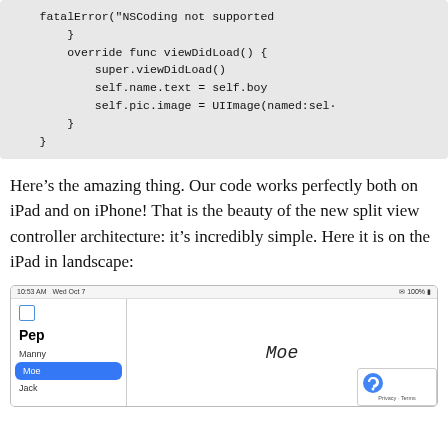[Figure (screenshot): Code block showing Swift code with fatalError, override func viewDidLoad, super.viewDidLoad(), self.name.text = self.boy, self.pic.image = UIImage(named:sel...]
Here’s the amazing thing. Our code works perfectly both on iPad and on iPhone! That is the beauty of the new split view controller architecture: it’s incredibly simple. Here it is on the iPad in landscape:
[Figure (screenshot): iPad screenshot in landscape showing a split view controller with Pep list on the left (Manny, Moe selected in blue, Jack) and Moe displayed on the right side]